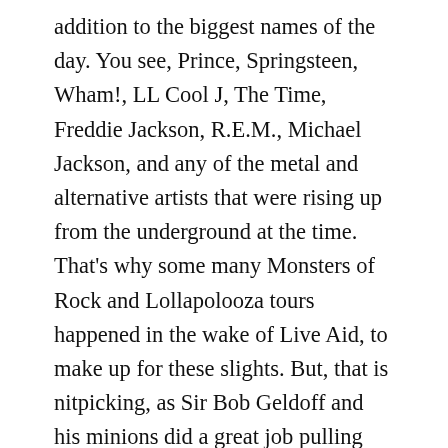addition to the biggest names of the day. You see, Prince, Springsteen, Wham!, LL Cool J, The Time, Freddie Jackson, R.E.M., Michael Jackson, and any of the metal and alternative artists that were rising up from the underground at the time. That's why some many Monsters of Rock and Lollapolooza tours happened in the wake of Live Aid, to make up for these slights. But, that is nitpicking, as Sir Bob Geldoff and his minions did a great job pulling this whole thing off with two concerts in London and Philadelphia trading artist performances all day long. The whole thing completely pushed the technology of the day into the realm of what we take for-granted today. Nitpicking aside, it was a pretty great day, as I ended my Live Aid